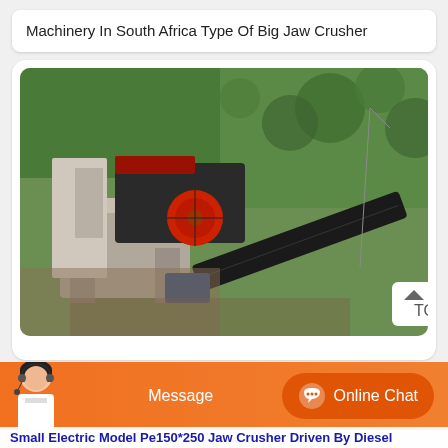Machinery In South Africa Type Of Big Jaw Crusher
[Figure (photo): Aerial view of a small jaw crusher machine with a conveyor belt, mounted on a concrete platform surrounded by greenery and dirt. A red flywheel is visible on the crusher unit. There is a 'TOP' button overlay in the bottom right of the image.]
[Figure (infographic): Orange bottom navigation bar with a female customer service agent photo on the left, a 'Message' text button in the center-left, and an 'Online Chat' button with chat icon on the right.]
Small Electric Model Pe150*250 Jaw Crusher Driven By Diesel